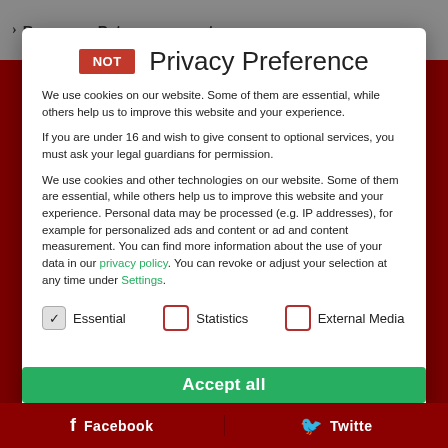> Become a Patreon supporter
Privacy Preference
We use cookies on our website. Some of them are essential, while others help us to improve this website and your experience.
If you are under 16 and wish to give consent to optional services, you must ask your legal guardians for permission.
We use cookies and other technologies on our website. Some of them are essential, while others help us to improve this website and your experience. Personal data may be processed (e.g. IP addresses), for example for personalized ads and content or ad and content measurement. You can find more information about the use of your data in our privacy policy. You can revoke or adjust your selection at any time under Settings.
Essential
Statistics
External Media
Accept all
Facebook  Twitte